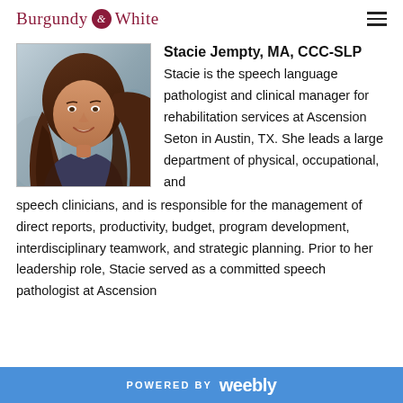Burgundy & White
[Figure (photo): Headshot photo of Stacie Jempty, a woman with long brown hair, smiling, outdoors.]
Stacie Jempty, MA, CCC-SLP
Stacie is the speech language pathologist and clinical manager for rehabilitation services at Ascension Seton in Austin, TX. She leads a large department of physical, occupational, and speech clinicians, and is responsible for the management of direct reports, productivity, budget, program development, interdisciplinary teamwork, and strategic planning. Prior to her leadership role, Stacie served as a committed speech pathologist at Ascension
POWERED BY weebly